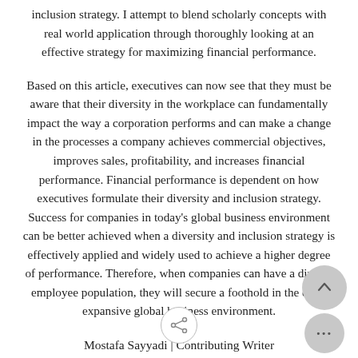inclusion strategy. I attempt to blend scholarly concepts with real world application through thoroughly looking at an effective strategy for maximizing financial performance.
Based on this article, executives can now see that they must be aware that their diversity in the workplace can fundamentally impact the way a corporation performs and can make a change in the processes a company achieves commercial objectives, improves sales, profitability, and increases financial performance. Financial performance is dependent on how executives formulate their diversity and inclusion strategy. Success for companies in today's global business environment can be better achieved when a diversity and inclusion strategy is effectively applied and widely used to achieve a higher degree of performance. Therefore, when companies can have a diverse employee population, they will secure a foothold in the ever-expansive global business environment.
Mostafa Sayyadi | Contributing Writer